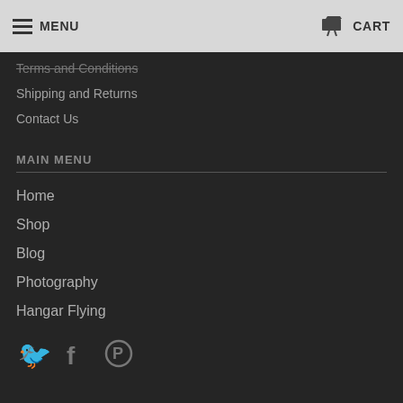MENU   CART
Terms and Conditions
Shipping and Returns
Contact Us
MAIN MENU
Home
Shop
Blog
Photography
Hangar Flying
[Figure (illustration): Social media icons: Twitter bird, Facebook f, Pinterest P]
NEWS & UPDATES